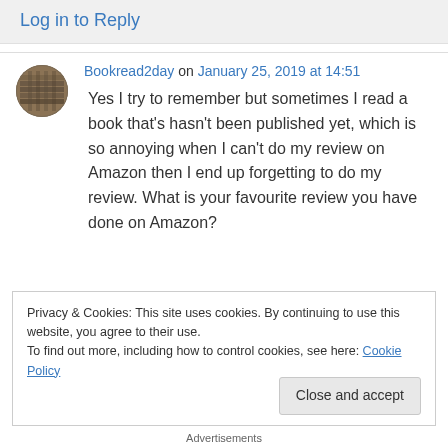Log in to Reply
Bookread2day on January 25, 2019 at 14:51
Yes I try to remember but sometimes I read a book that's hasn't been published yet, which is so annoying when I can't do my review on Amazon then I end up forgetting to do my review. What is your favourite review you have done on Amazon?
Privacy & Cookies: This site uses cookies. By continuing to use this website, you agree to their use. To find out more, including how to control cookies, see here: Cookie Policy
Close and accept
Advertisements